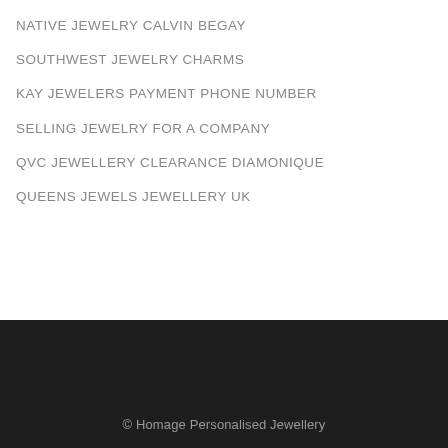NATIVE JEWELRY CALVIN BEGAY
SOUTHWEST JEWELRY CHARMS
KAY JEWELERS PAYMENT PHONE NUMBER
SELLING JEWELRY FOR A COMPANY
QVC JEWELLERY CLEARANCE DIAMONIQUE
QUEENS JEWELS JEWELLERY UK
© Homage Personalised Jewellery